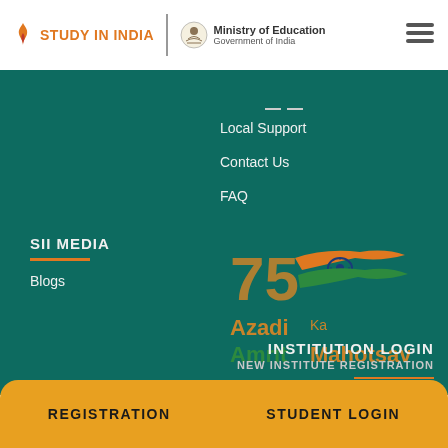STUDY IN INDIA | Ministry of Education Government of India
Local Support
Contact Us
FAQ
SII MEDIA
Blogs
[Figure (logo): Azadi Ka Amrit Mahotsav 75 years logo with Indian flag colors]
INSTITUTION LOGIN
NEW INSTITUTE REGISTRATION
Alumni Portal
#SayYEStoStudyinIndia
REGISTRATION   STUDENT LOGIN